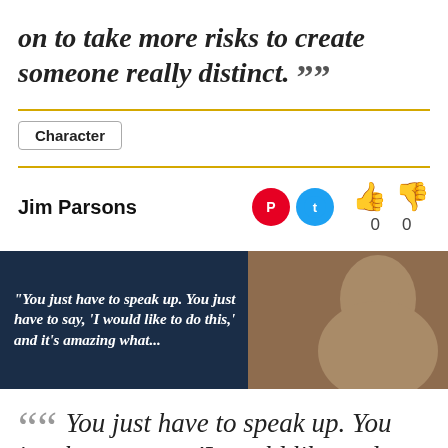on to take more risks to create someone really distinct. ””
Character
Jim Parsons
[Figure (infographic): Banner with dark navy background showing quote text on left and photo of Jim Parsons on right. Quote reads: “You just have to speak up. You just have to say, ‘I would like to do this,’ and it’s amazing what..."]
““ You just have to speak up. You just have to say, ‘I would like to do this,’ and it’s amazing what